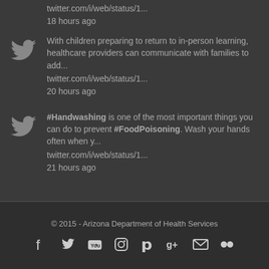twitter.com/i/web/status/1...
18 hours ago
With children preparing to return to in-person learning, healthcare providers can communicate with families to add... twitter.com/i/web/status/1... 20 hours ago
#Handwashing is one of the most important things you can do to prevent #FoodPoisoning. Wash your hands often when y... twitter.com/i/web/status/1... 21 hours ago
© 2015 - Arizona Department of Health Services